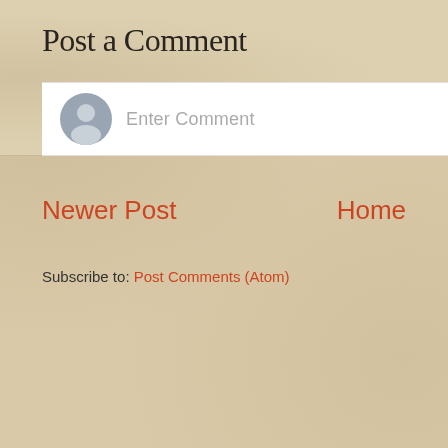Post a Comment
[Figure (illustration): Comment input area with a grey default user avatar icon on the left and 'Enter Comment' placeholder text on the right, on a white background]
Newer Post
Home
Subscribe to: Post Comments (Atom)